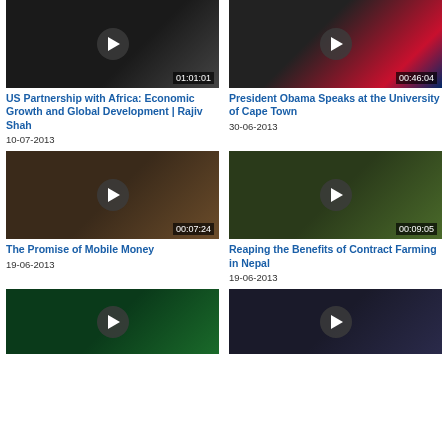[Figure (screenshot): Video thumbnail: man speaking at podium, dark background, duration 01:01:01]
US Partnership with Africa: Economic Growth and Global Development | Rajiv Shah
10-07-2013
[Figure (screenshot): Video thumbnail: person speaking with US and South Africa flags, duration 00:46:04]
President Obama Speaks at the University of Cape Town
30-06-2013
[Figure (screenshot): Video thumbnail: animals in wooden structure, duration 00:07:24]
The Promise of Mobile Money
19-06-2013
[Figure (screenshot): Video thumbnail: people sitting outdoors, duration 00:09:05]
Reaping the Benefits of Contract Farming in Nepal
19-06-2013
[Figure (screenshot): Video thumbnail: man in traditional hat near green containers with USAID sign]
[Figure (screenshot): Video thumbnail: man in suit speaking]